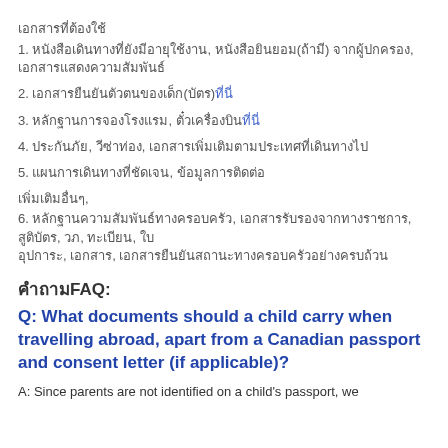เอกสารที่ต้องใช้
1. หนังสือเดินทางที่ยังมีอายุใช้งาน, หนังสือยินยอม(ถ้ามี) จากผู้ปกครอง, เอกสารแสดงความสัมพันธ์
2. เอกสารยืนยันตัวตนของเด็ก(บัตร)ที่นี่
3. หลักฐานการจองโรงแรม, ตั๋วเครื่องบินที่นี่
4. ประกันภัย, วีซ่าท่อง, เอกสารเพิ่มเติมตามประเทศที่เดินทางไป
5. แผนการเดินทางที่ชัดเจน, ข้อมูลการติดต่อ
เพิ่มเติมอื่นๆ,
6. หลักฐานความสัมพันธ์ทางครอบครัว, เอกสารรับรองจากทางราชการ, สูติบัตร, วภ, ทะเบียน, ใบ อุปการะ, เอกสาร, เอกสารยืนยันสถานะทางครอบครัวอย่างครบถ้วน
คำถามFAQ:
Q: What documents should a child carry when travelling abroad, apart from a Canadian passport and consent letter (if applicable)?
A: Since parents are not identified on a child's passport, we